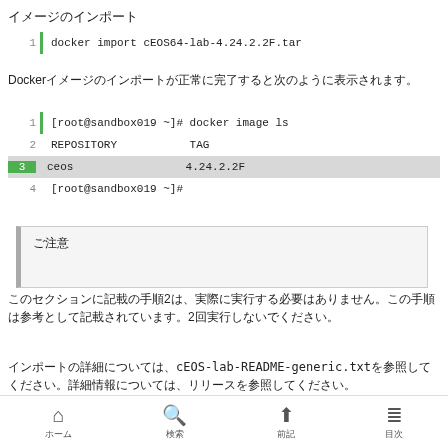イメージのインポート
[Figure (screenshot): Code block showing: 1 | docker import cEOS64-lab-4.24.2.2F.tar]
Dockerイメージのインポートが正常に完了すると次のように表示されます。
[Figure (screenshot): Code block showing: 1 [root@sandbox019 ~]# docker image ls, 2 REPOSITORY    TAG, 3 ceos    4.24.2.2F (highlighted), 4 [root@sandbox019 ~]#]
ご注意
このセクションに記載の手順2は、実際に実行する必要はありません。この手順は参考として記載されています。2回実行しないでください。
インポートの詳細については、cEOS-lab-README-generic.txtを参照してください。詳細情報については、リリースを参照してください。
ホーム　検索　前記　目次